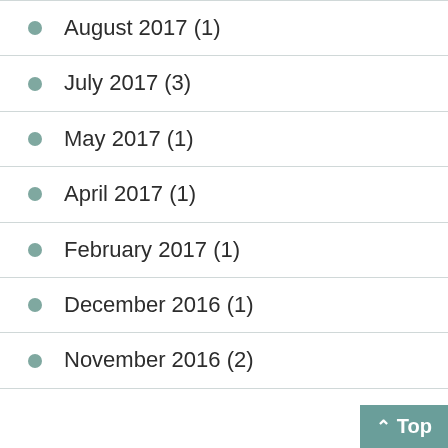August 2017 (1)
July 2017 (3)
May 2017 (1)
April 2017 (1)
February 2017 (1)
December 2016 (1)
November 2016 (2)